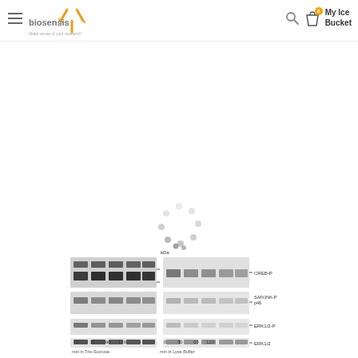[Figure (screenshot): Biosensis website header with hamburger menu, biosensis Y-shaped antibody logo with tagline 'Make sense of your research!', search icon, shopping bag icon with 0 badge, and 'My Ice Bucket' text]
[Figure (other): Loading spinner (circular dots pattern) indicating page content is loading]
[Figure (photo): Western blot image showing four panels: CREB-P, SAP/JNK-P p46, ERK1/2-P, and ERK1/2, with time points 0, 30, 60, 120 min in Tris-Sucrose and Lyse Buffer conditions, with kDa markers at 53 and 38]